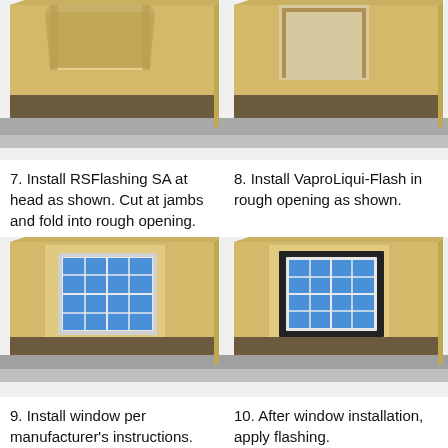[Figure (illustration): Step 7: 3D illustration of wall section showing RSFlashing SA installed at window head, cut at jambs and folded into rough opening. Wall shows layered construction with tan sheathing, dark brown wrap, and gray sill flashing. Window opening visible at top.]
[Figure (illustration): Step 8: 3D illustration of wall section showing VaproLiqui-Flash applied in rough opening. Similar wall construction visible with tan sheathing and dark brown layer. No window installed yet.]
7. Install RSFlashing SA at head as shown. Cut at jambs and fold into rough opening.
8. Install VaproLiqui-Flash in rough opening as shown.
[Figure (illustration): Step 9: 3D illustration of wall section showing window installed in rough opening with white frame and blue glazing with grid pattern. Wall shows tan sheathing, dark wrap, and gray sill flashing at bottom.]
[Figure (illustration): Step 10: 3D illustration of wall section showing window installed with black frame/flashing applied around perimeter after installation. Blue glazing with grid visible. Wall shows tan sheathing, dark wrap, and gray sill flashing.]
9. Install window per manufacturer's instructions.
10. After window installation, apply flashing.